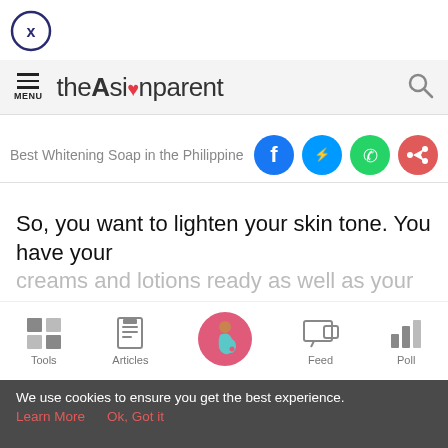[Figure (screenshot): Close button - circle with X icon, dark blue outline]
theAsianparent - MENU and search icon navigation bar
Best Whitening Soap in the Philippine
[Figure (infographic): Social share icons: Facebook (blue circle with f), Messenger (blue circle), WhatsApp (green circle), Share (red circle with arrow)]
So, you want to lighten your skin tone. You have your creams and lotions ready as well as your treatments lined
[Figure (infographic): Bottom navigation bar with Tools, Articles, home (pregnant woman icon in pink circle), Feed, Poll icons]
We use cookies to ensure you get the best experience.
Learn More   Ok, Got it